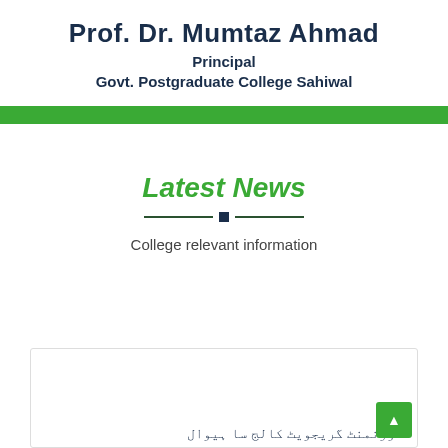Prof. Dr. Mumtaz Ahmad
Principal
Govt. Postgraduate College Sahiwal
Latest News
College relevant information
گورنمنٹ گریجویٹ کالج سا ہیوال